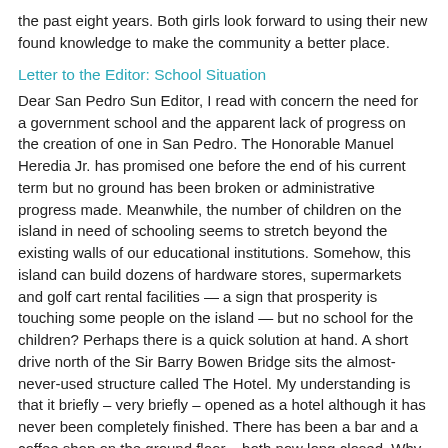the past eight years. Both girls look forward to using their new found knowledge to make the community a better place.
Letter to the Editor: School Situation
Dear San Pedro Sun Editor, I read with concern the need for a government school and the apparent lack of progress on the creation of one in San Pedro. The Honorable Manuel Heredia Jr. has promised one before the end of his current term but no ground has been broken or administrative progress made. Meanwhile, the number of children on the island in need of schooling seems to stretch beyond the existing walls of our educational institutions. Somehow, this island can build dozens of hardware stores, supermarkets and golf cart rental facilities — a sign that prosperity is touching some people on the island — but no school for the children? Perhaps there is a quick solution at hand. A short drive north of the Sir Barry Bowen Bridge sits the almost-never-used structure called The Hotel. My understanding is that it briefly – very briefly – opened as a hotel although it has never been completely finished. There has been a bar and a coffee shop on the ground floor – both now long closed. Why not turn this wasted space into a school? For one thing, who else in Belize could claim an elementary school with its own rooftop pool? There are adequate grounds on the lagoon side for outdoor recreational space as well.